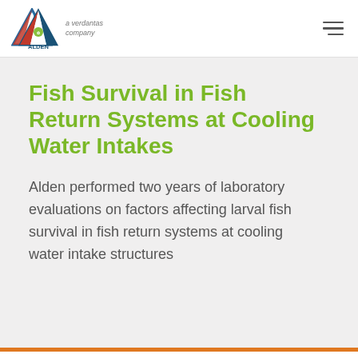[Figure (logo): Alden logo — triangular icon with ALDEN text below, and 'a verdantas company' text to the right]
Fish Survival in Fish Return Systems at Cooling Water Intakes
Alden performed two years of laboratory evaluations on factors affecting larval fish survival in fish return systems at cooling water intake structures